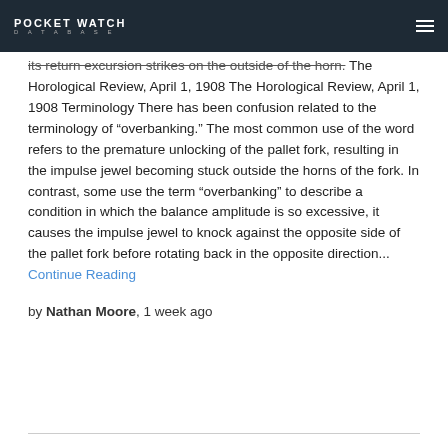POCKET WATCH DATABASE
its return excursion strikes on the outside of the horn. The Horological Review, April 1, 1908 The Horological Review, April 1, 1908 Terminology There has been confusion related to the terminology of “overbanking.” The most common use of the word refers to the premature unlocking of the pallet fork, resulting in the impulse jewel becoming stuck outside the horns of the fork. In contrast, some use the term “overbanking” to describe a condition in which the balance amplitude is so excessive, it causes the impulse jewel to knock against the opposite side of the pallet fork before rotating back in the opposite direction... Continue Reading
by Nathan Moore, 1 week ago